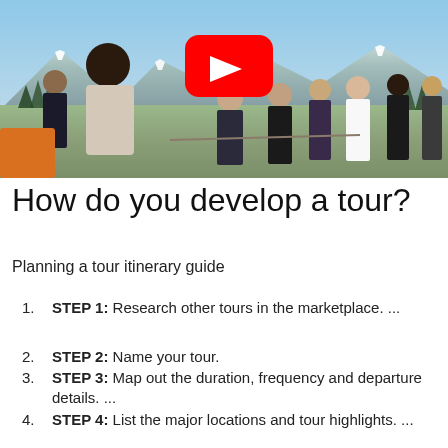[Figure (photo): Group of people standing outdoors with mountains and blue sky in background; YouTube play button overlay in upper center]
How do you develop a tour?
Planning a tour itinerary guide
STEP 1: Research other tours in the marketplace. ...
STEP 2: Name your tour.
STEP 3: Map out the duration, frequency and departure details. ...
STEP 4: List the major locations and tour highlights. ...